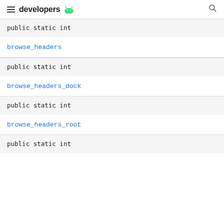developers
public static int
browse_headers
public static int
browse_headers_dock
public static int
browse_headers_root
public static int